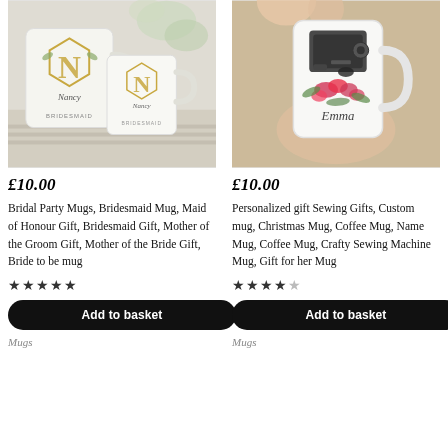[Figure (photo): Two white mugs with gold geometric monogram 'N' and floral wreath design, text 'Nancy' and 'BRIDESMAID' on mugs, styled on a table with flowers in background.]
£10.00
Bridal Party Mugs, Bridesmaid Mug, Maid of Honour Gift, Bridesmaid Gift, Mother of the Groom Gift, Mother of the Bride Gift, Bride to be mug
★★★★★
Add to basket
Mugs
[Figure (photo): Hand holding a white mug with sewing machine and floral illustration, name 'Emma' on the mug, knitted sweater background.]
£10.00
Personalized gift Sewing Gifts, Custom mug, Christmas Mug, Coffee Mug, Name Mug, Coffee Mug, Crafty Sewing Machine Mug, Gift for her Mug
★★★★★
Add to basket
Mugs